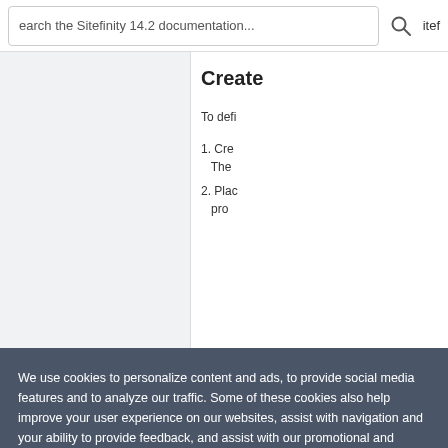Search the Sitefinity 14.2 documentation... itef
Create
To defi
1. Cre
The
2. Plac
pro
We use cookies to personalize content and ads, to provide social media features and to analyze our traffic. Some of these cookies also help improve your user experience on our websites, assist with navigation and your ability to provide feedback, and assist with our promotional and marketing efforts. Please read our Cookie Policy for a more detailed description and click on the settings button to customize how the site uses cookies for you.
ACCEPT COOKIES
COOKIES SETTINGS